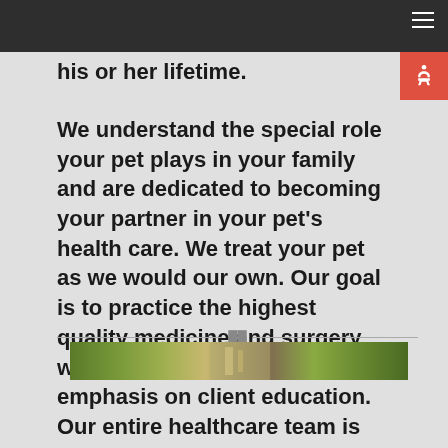his or her lifetime.
We understand the special role your pet plays in your family and are dedicated to becoming your partner in your pet's health care. We treat your pet as we would our own. Our goal is to practice the highest quality medicine and surgery with compassion and an emphasis on client education. Our entire healthcare team is committed to providing personal attention to the unique concerns of each individual pet owner.
[Figure (photo): A partial strip photo of animals or nature at the bottom of the page]